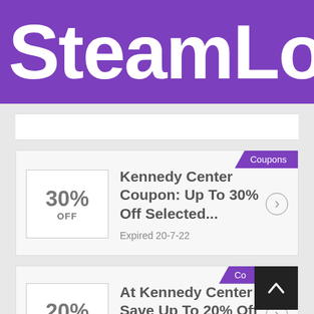[Figure (logo): SteamLo logo in white text on purple background, partially cropped]
Coupons
Kennedy Center Coupon: Up To 30% Off Selected...
Expired 20-7-22
Co (Coupons tag, partially hidden)
At Kennedy Center Save Up To 20% Off Selected Products